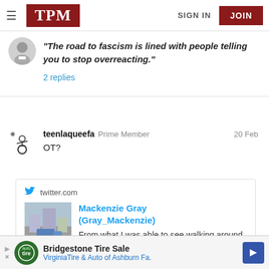TPM | SIGN IN | JOIN
"The road to fascism is lined with people telling you to stop overreacting."
2 replies
teenlaqueefa Prime Member  20 Feb
OT?
[Figure (screenshot): Embedded Twitter card showing Mackenzie Gray (Gray_Mackenzie) tweet with a street photo and text beginning 'From what I was able to see walking around downtown this morning,']
Bridgestone Tire Sale
VirginiaTire & Auto of Ashburn Fa.